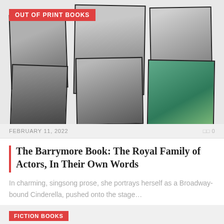[Figure (photo): Collage of six black-and-white and color vintage photographs of actors, with a red 'OUT OF PRINT BOOKS' badge in the top left]
FEBRUARY 11, 2022
0
The Barrymore Book: The Royal Family of Actors, In Their Own Words
In charming, singsong prose, she portrays herself as a Broadway-bound Cinderella, pushed onto the stage...
FICTION BOOKS